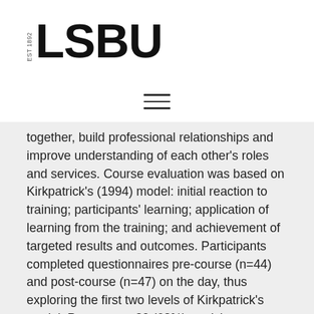EST 1892 LSBU
together, build professional relationships and improve understanding of each other's roles and services. Course evaluation was based on Kirkpatrick's (1994) model: initial reaction to training; participants' learning; application of learning from the training; and achievement of targeted results and outcomes. Participants completed questionnaires pre-course (n=44) and post-course (n=47) on the day, thus exploring the first two levels of Kirkpatrick's model. Pre-course, 30 (68%) participants reported having experienced difficulty in transferring or receiving the care of a patient with complex needs. Post–course, 44 (91%) intended to make changes to their clinical practice and all